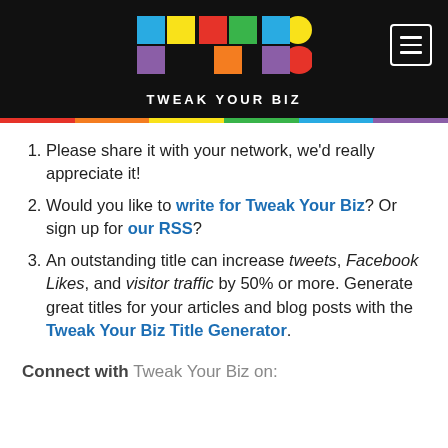[Figure (logo): Tweak Your Biz colorful TYB logo with text 'TWEAK YOUR BIZ' on black header background]
Please share it with your network, we'd really appreciate it!
Would you like to write for Tweak Your Biz? Or sign up for our RSS?
An outstanding title can increase tweets, Facebook Likes, and visitor traffic by 50% or more. Generate great titles for your articles and blog posts with the Tweak Your Biz Title Generator.
Connect with Tweak Your Biz on: